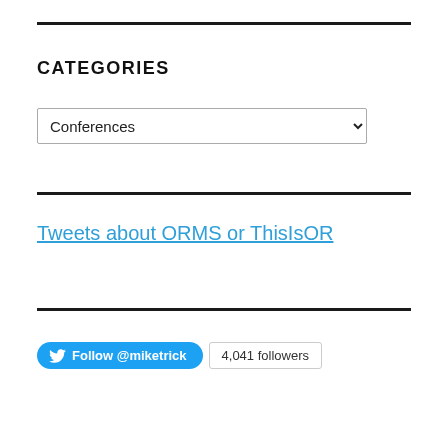CATEGORIES
[Figure (screenshot): A dropdown selector showing 'Conferences' with a chevron arrow, inside a bordered box]
Tweets about ORMS or ThisIsOR
[Figure (infographic): Twitter Follow button for @miketrick showing '4,041 followers']